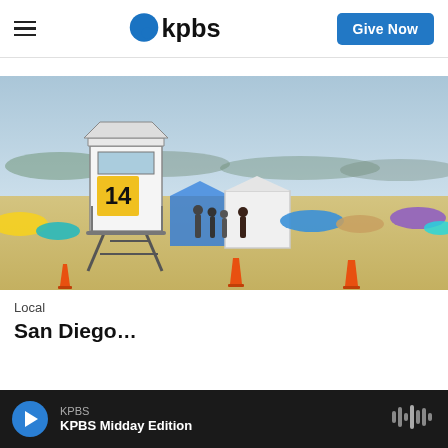KPBS — Give Now
[Figure (photo): Beach scene with a lifeguard tower numbered 14, colorful beach umbrellas, people, and orange traffic cones on the sand on a hazy sunny day]
Local
San Diego...
KPBS — KPBS Midday Edition